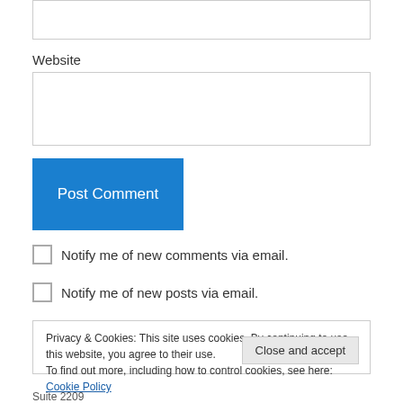Website
Notify me of new comments via email.
Notify me of new posts via email.
Privacy & Cookies: This site uses cookies. By continuing to use this website, you agree to their use. To find out more, including how to control cookies, see here: Cookie Policy
Suite 2209